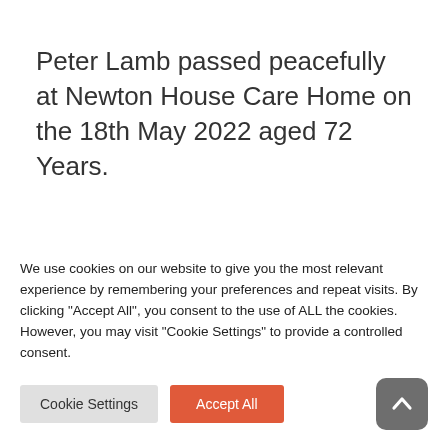Peter Lamb passed peacefully at Newton House Care Home on the 18th May 2022 aged 72 Years.
Dearly loved and greatly missed partner to Lorraine. Loving Dad to Melody, proud
We use cookies on our website to give you the most relevant experience by remembering your preferences and repeat visits. By clicking "Accept All", you consent to the use of ALL the cookies. However, you may visit "Cookie Settings" to provide a controlled consent.